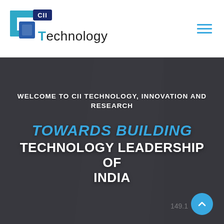[Figure (logo): CII Technology logo — stylized square bracket/T shape in teal and blue with 'CII' badge and 'Technology' text]
[Figure (illustration): Hamburger/menu icon with three horizontal teal lines]
[Figure (photo): Dark grey hero background with architectural arch columns visible behind overlay, semi-transparent dark overlay on top]
WELCOME TO CII TECHNOLOGY, INNOVATION AND RESEARCH
TOWARDS BUILDING TECHNOLOGY LEADERSHIP OF INDIA
[Figure (infographic): Circular blue scroll-to-top button with upward chevron arrow, positioned bottom-right of hero section]